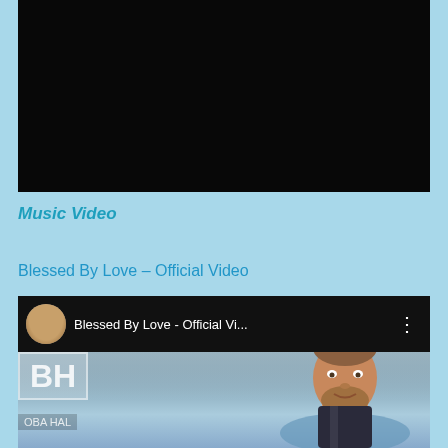[Figure (screenshot): YouTube video thumbnail showing 'LIVE AT SASKATOON BLUES FESTIVAL 2018' text on dark background with YouTube play button icon and a person in background]
Music Video
Blessed By Love – Official Video
[Figure (screenshot): YouTube video embed/thumbnail for 'Blessed By Love - Official Vi...' showing a man standing in ocean water with BH logo and 'OBA HAL' text overlay]